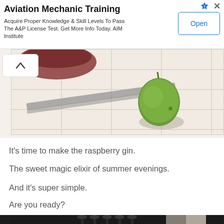[Figure (screenshot): Advertisement banner for Aviation Mechanic Training with Open button]
[Figure (photo): Photo showing a green fruit/lime and a dark bowl on a white tiled surface, partially visible]
It's time to make the raspberry gin.
The sweet magic elixir of summer evenings.
And it's super simple.
Are you ready?
[Figure (photo): Bottom of a room interior with a chandelier/light fixture visible, dark tones]